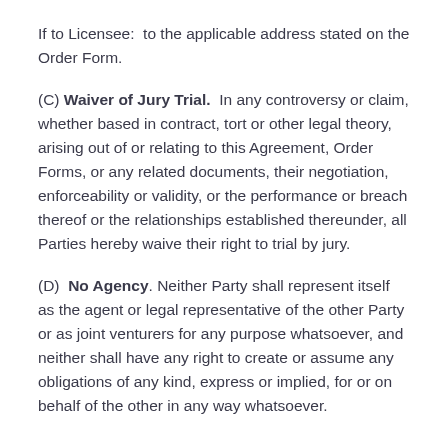If to Licensee:  to the applicable address stated on the Order Form.
(C) Waiver of Jury Trial.  In any controversy or claim, whether based in contract, tort or other legal theory, arising out of or relating to this Agreement, Order Forms, or any related documents, their negotiation, enforceability or validity, or the performance or breach thereof or the relationships established thereunder, all Parties hereby waive their right to trial by jury.
(D)  No Agency. Neither Party shall represent itself as the agent or legal representative of the other Party or as joint venturers for any purpose whatsoever, and neither shall have any right to create or assume any obligations of any kind, express or implied, for or on behalf of the other in any way whatsoever.